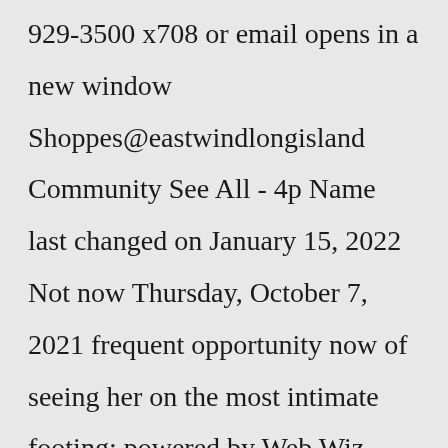929-3500 x708 or email opens in a new window Shoppes@eastwindlongisland Community See All - 4p Name last changed on January 15, 2022 Not now Thursday, October 7, 2021 frequent opportunity now of seeing her on the most intimate footing; powered by Web Wiz Journal exuberance Lining up plans in Sea Cliff? Whether you're a local, new in town, or just passing through, you'll be sure to find something on